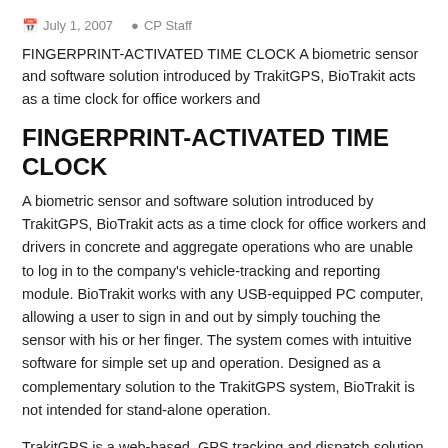July 1, 2007   CP Staff
FINGERPRINT-ACTIVATED TIME CLOCK A biometric sensor and software solution introduced by TrakitGPS, BioTrakit acts as a time clock for office workers and
FINGERPRINT-ACTIVATED TIME CLOCK
A biometric sensor and software solution introduced by TrakitGPS, BioTrakit acts as a time clock for office workers and drivers in concrete and aggregate operations who are unable to log in to the company's vehicle-tracking and reporting module. BioTrakit works with any USB-equipped PC computer, allowing a user to sign in and out by simply touching the sensor with his or her finger. The system comes with intuitive software for simple set up and operation. Designed as a complementary solution to the TrakitGPS system, BioTrakit is not intended for stand-alone operation.
TrakitGPS is a web-based, GPS tracking and dispatch solution